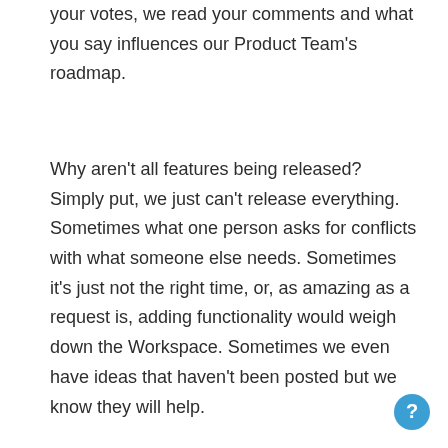your votes, we read your comments and what you say influences our Product Team's roadmap.
Why aren't all features being released? Simply put, we just can't release everything. Sometimes what one person asks for conflicts with what someone else needs. Sometimes it's just not the right time, or, as amazing as a request is, adding functionality would weigh down the Workspace. Sometimes we even have ideas that haven't been posted but we know they will help.